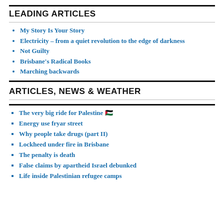LEADING ARTICLES
My Story Is Your Story
Electricity – from a quiet revolution to the edge of darkness
Not Guilty
Brisbane's Radical Books
Marching backwards
ARTICLES, NEWS & WEATHER
The very big ride for Palestine 🇵🇸
Energy use fryar street
Why people take drugs (part II)
Lockheed under fire in Brisbane
The penalty is death
False claims by apartheid Israel debunked
Life inside Palestinian refugee camps